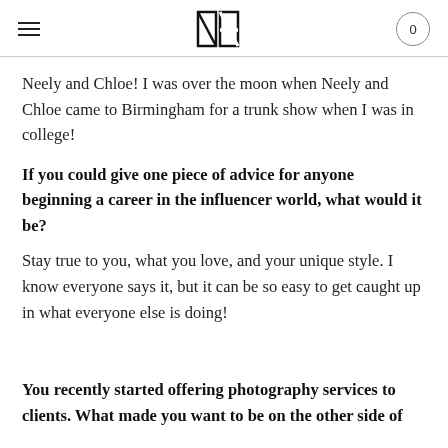≡  [NC logo]  0
Neely and Chloe! I was over the moon when Neely and Chloe came to Birmingham for a trunk show when I was in college!
If you could give one piece of advice for anyone beginning a career in the influencer world, what would it be?
Stay true to you, what you love, and your unique style. I know everyone says it, but it can be so easy to get caught up in what everyone else is doing!
You recently started offering photography services to clients. What made you want to be on the other side of